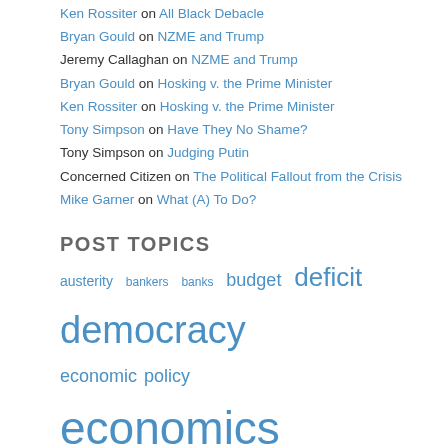Ken Rossiter on All Black Debacle
Bryan Gould on NZME and Trump
Jeremy Callaghan on NZME and Trump
Bryan Gould on Hosking v. the Prime Minister
Ken Rossiter on Hosking v. the Prime Minister
Tony Simpson on Have They No Shame?
Tony Simpson on Judging Putin
Concerned Citizen on The Political Fallout from the Crisis
Mike Garner on What (A) To Do?
POST TOPICS
austerity bankers banks budget deficit democracy economic policy economics economy europe exchange rate fiscal policy free market free trade general election global crisis global economy gordon brown government inequality inflation interest rates jobs john